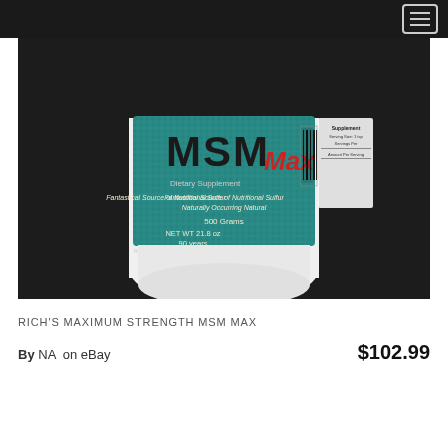[Figure (photo): A white plastic jar/bottle of MSM Max dietary supplement with a teal/turquoise label showing the brand name MSM Max in large bold letters, described as a nutritional sulfur source. The container has a barcode on the right side of the label.]
RICH'S MAXIMUM STRENGTH MSM MAX
By NA  on eBay  $102.99